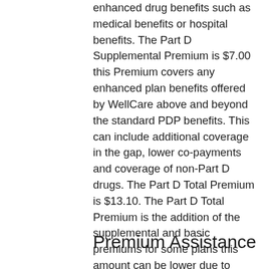enhanced drug benefits such as medical benefits or hospital benefits. The Part D Supplemental Premium is $7.00 this Premium covers any enhanced plan benefits offered by WellCare above and beyond the standard PDP benefits. This can include additional coverage in the gap, lower co-payments and coverage of non-Part D drugs. The Part D Total Premium is $13.10. The Part D Total Premium is the addition of the supplemental and basic premiums for some plans this amount can be lower due to negative basic or supplemental premiums.
Premium Assistance